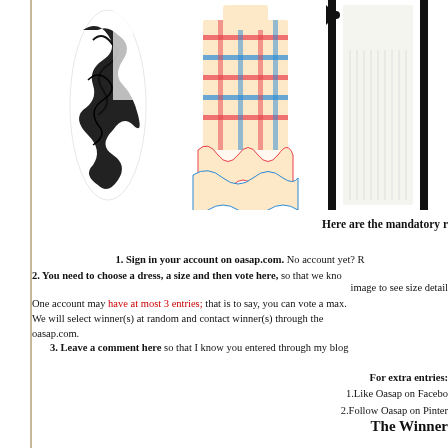[Figure (illustration): Three dresses displayed side by side: a black and white abstract print dress, a colorful plaid/check ruffled dress, and a white/cream pleated dress with black trim]
Here are the mandatory r
1. Sign in your account on oasap.com. No account yet? R
2. You need to choose a dress, a size and then vote here, so that we kno image to see size detail
One account may have at most 3 entries; that is to say, you can vote a max. We will select winner(s) at random and contact winner(s) through the oasap.com.
3. Leave a comment here so that I know you entered through my blog
For extra entries:
1.Like Oasap on Facebo
2.Follow Oasap on Pinter
The Winner